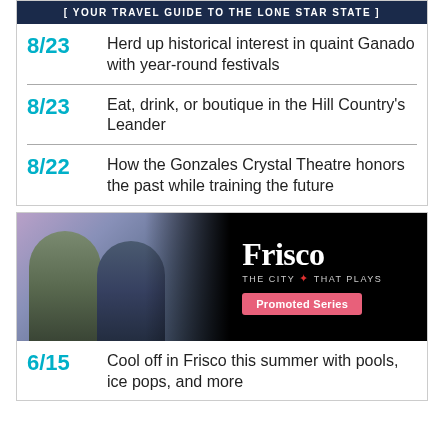[ YOUR TRAVEL GUIDE TO THE LONE STAR STATE ]
8/23 — Herd up historical interest in quaint Ganado with year-round festivals
8/23 — Eat, drink, or boutique in the Hill Country's Leander
8/22 — How the Gonzales Crystal Theatre honors the past while training the future
[Figure (photo): Frisco advertisement showing two women in an art studio with tote bag. Frisco logo and 'The City That Plays' tagline with Promoted Series button.]
6/15 — Cool off in Frisco this summer with pools, ice pops, and more